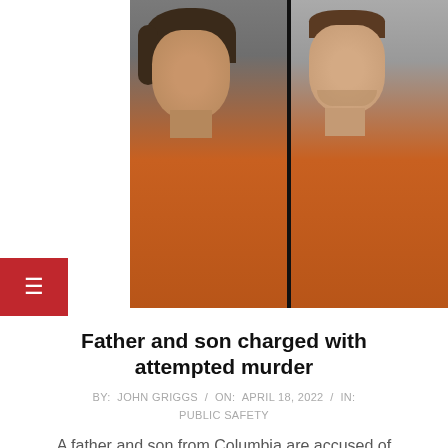[Figure (photo): Two mugshot photos side by side of a father and son in orange jumpsuits against a dark/black background]
Father and son charged with attempted murder
BY: JOHN GRIGGS / ON: APRIL 18, 2022 / IN: PUBLIC SAFETY
A father and son from Columbia are accused of attempted murder, among other charges, after a Thursday morning shooting. Anthony Gail Davis, 54, and Antony Ryan Davis, 28, are charged with two counts each of attempted murder, four counts each of pointing and presenting a firearm at a person, and